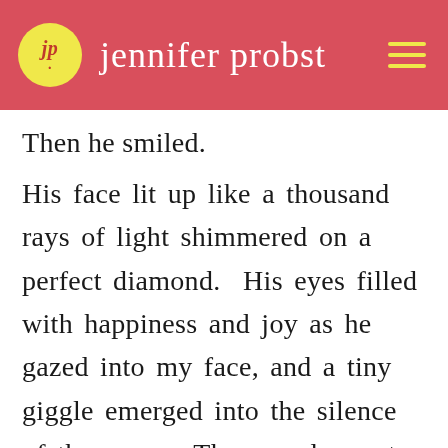jp. jennifer probst
Then he smiled.
His face lit up like a thousand rays of light shimmered on a perfect diamond. His eyes filled with happiness and joy as he gazed into my face, and a tiny giggle emerged into the silence of the room. The sound rose to my ears like the